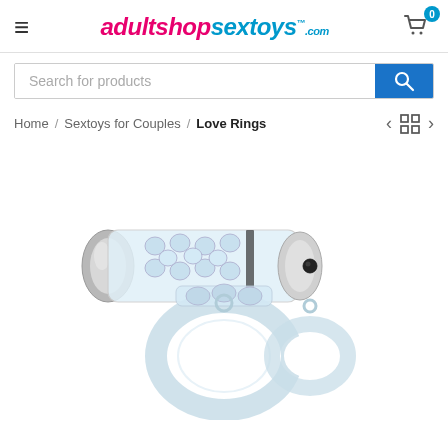adultshopsextoys.com
Search for products
Home / Sextoys for Couples / Love Rings
[Figure (photo): Product photo of a clear/transparent vibrating love ring with textured sleeve and dual ring design, with a silver bullet vibrator inserted.]